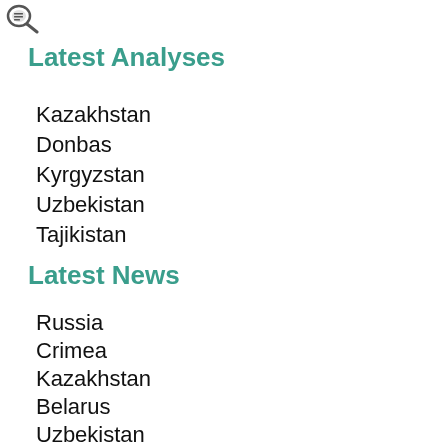[logo]
Latest Analyses
Kazakhstan
Donbas
Kyrgyzstan
Uzbekistan
Tajikistan
Latest News
Russia
Crimea
Kazakhstan
Belarus
Uzbekistan
Tajikistan
Azerbaijan
Nagorno-Karabakh
Darbes